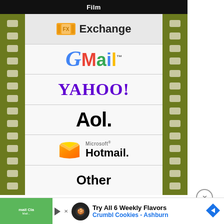[Figure (screenshot): Mobile app screenshot showing a film-strip framed list of email providers: Film Exchange, Gmail, Yahoo!, AOL, Microsoft Hotmail, and Other, with a dark toolbar at bottom containing X, gallery, stars, and checkmark icons.]
Film
Exchange
Gmail
YAHOO!
Aol.
Microsoft Hotmail
Other
[Figure (screenshot): Advertisement banner: Try All 6 Weekly Flavors - Crumbl Cookies - Ashburn]